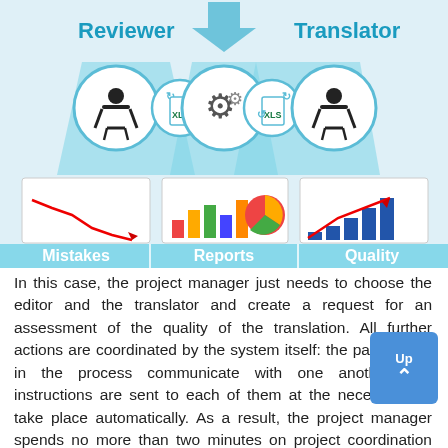[Figure (infographic): Workflow infographic showing Reviewer and Translator roles connected via XLS files and a gear/settings icon. Below: three columns labeled Mistakes (declining line chart), Reports (bar and pie charts), Quality (growing bar chart with red arrow). Teal/light blue color scheme.]
In this case, the project manager just needs to choose the editor and the translator and create a request for an assessment of the quality of the translation. All further actions are coordinated by the system itself: the participants in the process communicate with one another and instructions are sent to each of them at the necessary stages take place automatically. As a result, the project manager spends no more than two minutes on project coordination and receives a completed evaluation once the